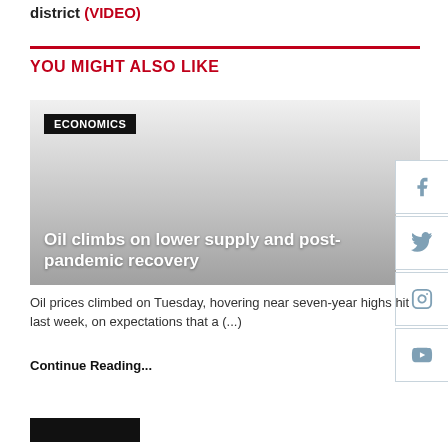district (VIDEO)
YOU MIGHT ALSO LIKE
[Figure (photo): Article thumbnail image with dark gradient overlay, labeled ECONOMICS, showing oil-related imagery. Overlay title: Oil climbs on lower supply and post-pandemic recovery]
Oil prices climbed on Tuesday, hovering near seven-year highs hit last week, on expectations that a (...)
Continue Reading...